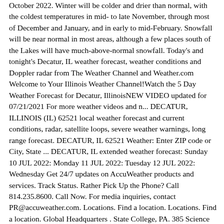October 2022. Winter will be colder and drier than normal, with the coldest temperatures in mid- to late November, through most of December and January, and in early to mid-February. Snowfall will be near normal in most areas, although a few places south of the Lakes will have much-above-normal snowfall. Today's and tonight's Decatur, IL weather forecast, weather conditions and Doppler radar from The Weather Channel and Weather.com Welcome to Your Illinois Weather Channel!Watch the 5 Day Weather Forecast for Decatur, IllinoisNEW VIDEO updated for 07/21/2021 For more weather videos and n... DECATUR, ILLINOIS (IL) 62521 local weather forecast and current conditions, radar, satellite loops, severe weather warnings, long range forecast. DECATUR, IL 62521 Weather: Enter ZIP code or City, State ... DECATUR, IL extended weather forecast: Sunday 10 JUL 2022: Monday 11 JUL 2022: Tuesday 12 JUL 2022: Wednesday Get 24/7 updates on AccuWeather products and services. Track Status. Rather Pick Up the Phone? Call 814.235.8600. Call Now. For media inquiries, contact PR@accuweather.com. Locations. Find a location. Locations. Find a location. Global Headquarters . State College, PA. 385 Science Park Road State College, PA 16803. Welcome to Your Illinois Weather Channel!Watch the 5 Day Weather Forecast for Decatur, IllinoisNEW VIDEO updated for 07/21/2021 For more weather videos and n... Hourly Local Weather Forecast, weather conditions, precipitation, dew point, humidity, wind from Weather.com and The Weather Channel.